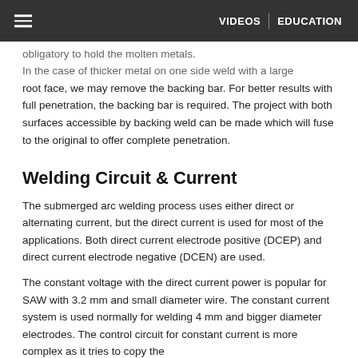VIDEOS | EDUCATION
obligatory to hold the molten metals. In the case of thicker metal on one side weld with a large root face, we may remove the backing bar. For better results with full penetration, the backing bar is required. The project with both surfaces accessible by backing weld can be made which will fuse to the original to offer complete penetration.
Welding Circuit & Current
The submerged arc welding process uses either direct or alternating current, but the direct current is used for most of the applications. Both direct current electrode positive (DCEP) and direct current electrode negative (DCEN) are used.
The constant voltage with the direct current power is popular for SAW with 3.2 mm and small diameter wire. The constant current system is used normally for welding 4 mm and bigger diameter electrodes. The control circuit for constant current is more complex as it tries to copy the